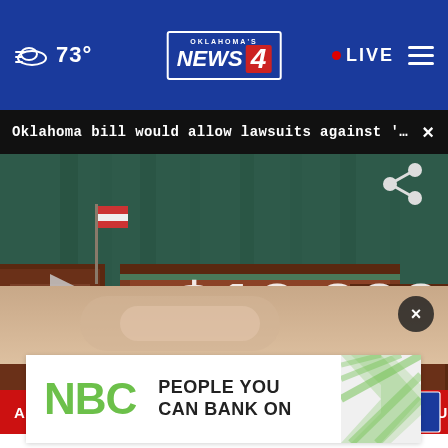73° | Oklahoma's News 4 | LIVE
Oklahoma bill would allow lawsuits against 'anyon... ×
[Figure (screenshot): Video thumbnail of a courtroom scene with '$10,000' text overlay and lower third reading 'ABORTION BILL MAY BE THE TOUGHEST IN THE COUNTRY' with Oklahoma's News 4 branding. Play button visible on left side. Share icon top right.]
[Figure (photo): Partial photo strip beneath video showing a person's hands, with a dark close (×) button overlay.]
[Figure (other): NBC advertisement banner reading 'NBC PEOPLE YOU CAN BANK ON' with NBC logo and green/white chevron pattern on right side.]